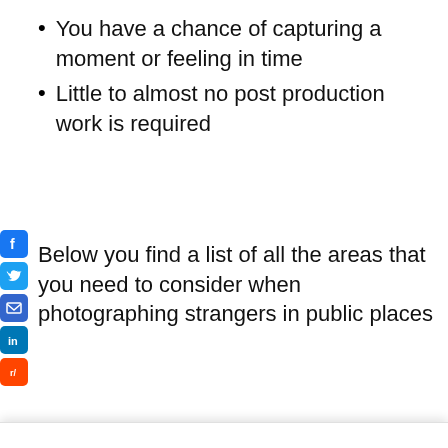You have a chance of capturing a moment or feeling in time
Little to almost no post production work is required
Below you find a list of all the areas that you need to consider when photographing strangers in public places
We use cookies on our website to give you the most relevant experience by remembering your preferences and repeat visits. By clicking "Accept All", you consent to the use of ALL the cookies. However, you may visit "Cookie Settings" to provide a controlled consent.